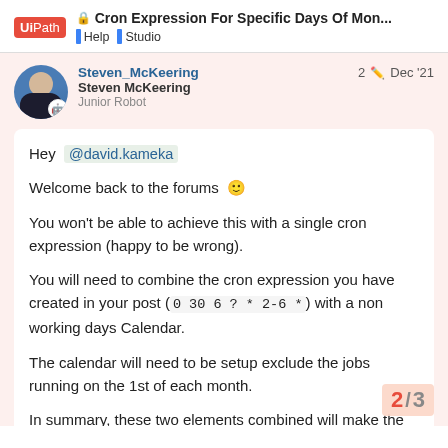Cron Expression For Specific Days Of Mon... | Help | Studio
Steven_McKeering
Steven McKeering
Junior Robot
2  Dec '21
Hey @david.kameka
Welcome back to the forums 🙂
You won't be able to achieve this with a single cron expression (happy to be wrong).
You will need to combine the cron expression you have created in your post (0 30 6 ? * 2-6 *) with a non working days Calendar.
The calendar will need to be setup exclude the jobs running on the 1st of each month.
In summary, these two elements combined will make the job run at 6:30am Monday to Friday minus th because of the Non Working days calenc